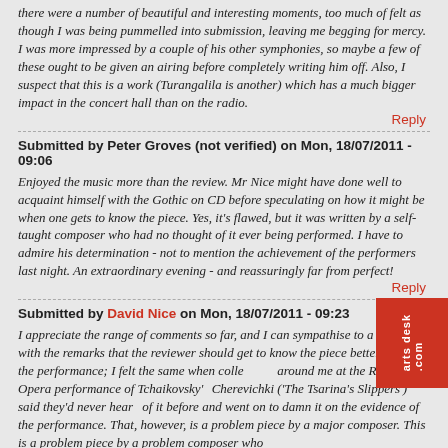there were a number of beautiful and interesting moments, too much of felt as though I was being pummelled into submission, leaving me begging for mercy. I was more impressed by a couple of his other symphonies, so maybe a few of these ought to be given an airing before completely writing him off. Also, I suspect that this is a work (Turangalila is another) which has a much bigger impact in the concert hall than on the radio.
Reply
Submitted by Peter Groves (not verified) on Mon, 18/07/2011 - 09:06
Enjoyed the music more than the review. Mr Nice might have done well to acquaint himself with the Gothic on CD before speculating on how it might be when one gets to know the piece. Yes, it's flawed, but it was written by a self-taught composer who had no thought of it ever being performed. I have to admire his determination - not to mention the achievement of the performers last night. An extraordinary evening - and reassuringly far from perfect!
Reply
Submitted by David Nice on Mon, 18/07/2011 - 09:23
I appreciate the range of comments so far, and I can sympathise to a degree with the remarks that the reviewer should get to know the piece better before the performance; I felt the same when colleagues around me at the Royal Opera performance of Tchaikovsky's Cherevichki ('The Tsarina's Slippers') said they'd never heard of it before and went on to damn it on the evidence of the performance. That, however, is a problem piece by a major composer. This is a problem piece by a problem composer who